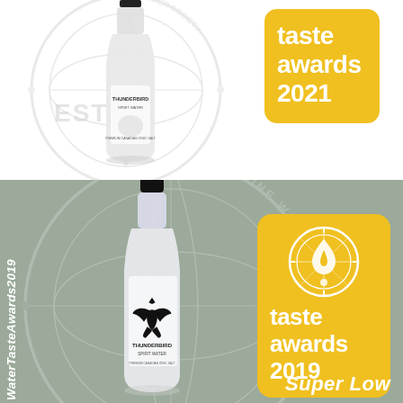[Figure (photo): Top half: White/light background with Fine Water Society watermark circle. Thunderbird Spirit Water bottle (white bottle with black logo) and a yellow rounded rectangle badge reading 'taste awards 2021' in white bold text. Partial 'EST. 20' text visible on watermark.]
[Figure (photo): Bottom half: Sage green/grey background with Fine Water Society watermark circle. Thunderbird Spirit Water bottle (white bottle with black thunderbird logo). Rotated vertical white text 'WaterTasteAwards2019' along left edge. Yellow rounded rectangle badge with Fine Water Society emblem (water drop with circle/compass design) and text 'taste awards 2019' in white bold text. White italic text 'Super Low' in bottom right corner.]